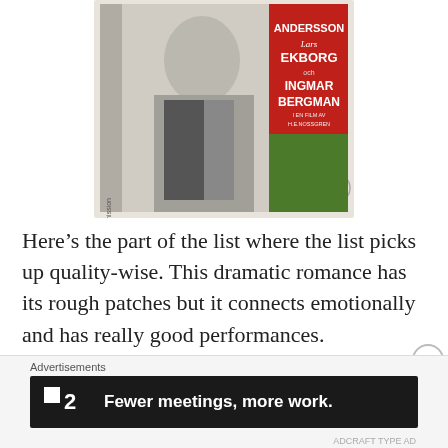[Figure (photo): Vintage Swedish movie poster showing a person in a sailor-style outfit with text ANDERSSON, Lars EKBORG, and INGMAR BERGMAN on a red background. Vertical text 'seriesermission' on the left side.]
Here’s the part of the list where the list picks up quality-wise. This dramatic romance has its rough patches but it connects emotionally and has really good performances.
22. The Passion of Anna (1969)
Advertisements
[Figure (screenshot): Advertisement banner: dark background with logo showing a small square and '2', text reads 'Fewer meetings, more work.']
ADCRAFT TYPE AD